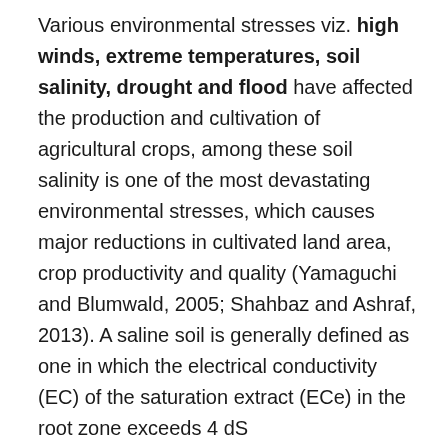Various environmental stresses viz. high winds, extreme temperatures, soil salinity, drought and flood have affected the production and cultivation of agricultural crops, among these soil salinity is one of the most devastating environmental stresses, which causes major reductions in cultivated land area, crop productivity and quality (Yamaguchi and Blumwald, 2005; Shahbaz and Ashraf, 2013). A saline soil is generally defined as one in which the electrical conductivity (EC) of the saturation extract (ECe) in the root zone exceeds 4 dS m−1(approximately 40 mM NaCl) at 25 °C and has an exchangeable sodium of 15%. The yield of most crop plants is reduced at this ECe, though many crops exhibit yield reduction at lower ECes (Munns, 2005; Jamil